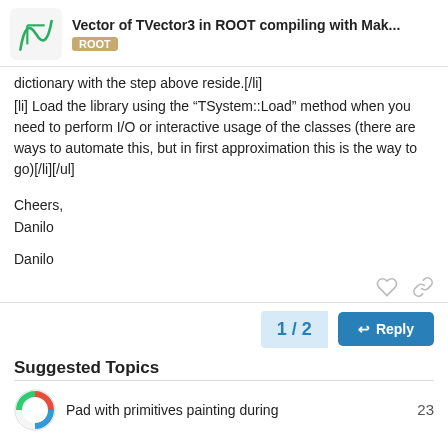Vector of TVector3 in ROOT compiling with Mak... — ROOT
dictionary with the step above reside.[/li]
[li] Load the library using the “TSystem::Load” method when you need to perform I/O or interactive usage of the classes (there are ways to automate this, but in first approximation this is the way to go)[/li][/ul]
Cheers,
Danilo
Danilo
1 / 2
Reply
Suggested Topics
Pad with primitives painting during
23